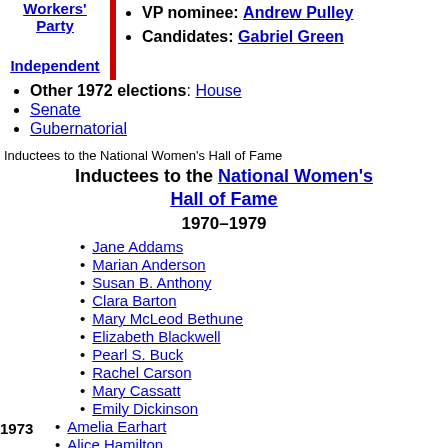Workers' Party
VP nominee: Andrew Pulley
Independent
Candidates: Gabriel Green
Other 1972 elections: House
Senate
Gubernatorial
Inductees to the National Women's Hall of Fame
Inductees to the National Women's Hall of Fame
1970–1979
Jane Addams
Marian Anderson
Susan B. Anthony
Clara Barton
Mary McLeod Bethune
Elizabeth Blackwell
Pearl S. Buck
Rachel Carson
Mary Cassatt
Emily Dickinson
1973
Amelia Earhart
Alice Hamilton